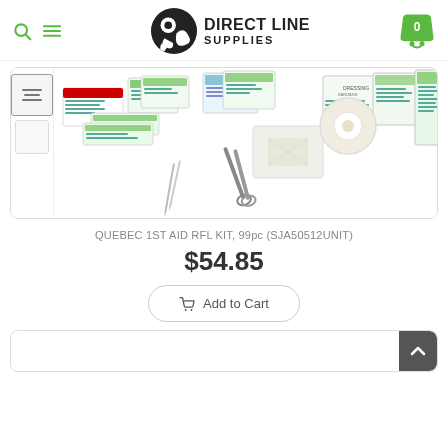Direct Line Supplies — navigation header with search, menu, logo, and cart
[Figure (photo): Product photo of Quebec 1st Aid RFL Kit 99pc — multiple first aid supply boxes, bandages, scissors, tape, and tweezers spread out on white background. Thumbnail strip on left side showing different views.]
QUEBEC 1ST AID RFL KIT, 99pc (SJA50512UNIT)
$54.85
Add to Cart